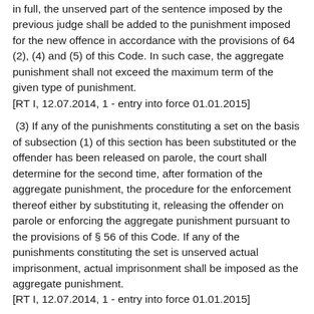in full, the unserved part of the sentence imposed by the previous judge shall be added to the punishment imposed for the new offence in accordance with the provisions of 64 (2), (4) and (5) of this Code. In such case, the aggregate punishment shall not exceed the maximum term of the given type of punishment.
[RT I, 12.07.2014, 1 - entry into force 01.01.2015]
(3) If any of the punishments constituting a set on the basis of subsection (1) of this section has been substituted or the offender has been released on parole, the court shall determine for the second time, after formation of the aggregate punishment, the procedure for the enforcement thereof either by substituting it, releasing the offender on parole or enforcing the aggregate punishment pursuant to the provisions of § 56 of this Code. If any of the punishments constituting the set is unserved actual imprisonment, actual imprisonment shall be imposed as the aggregate punishment.
[RT I, 12.07.2014, 1 - entry into force 01.01.2015]
§ 66.  Serving of sentence in parts
(1) If a court imposes a pecuniary punishment, detention, or imprisonment for a term of up to six months, the court, taking into consideration the situation of the family and the professional